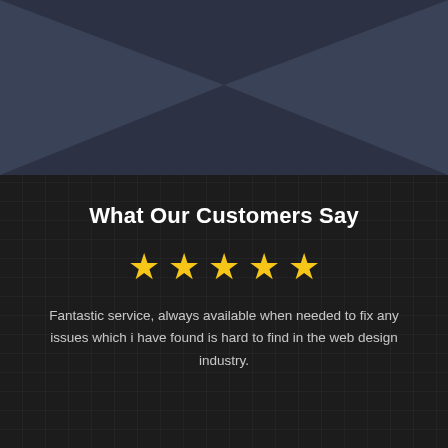[Figure (illustration): Dark blue/grey chevron or arrow shape pointing downward at the top of the page]
What Our Customers Say
[Figure (infographic): Five yellow star rating icons displayed in a row]
Fantastic service, always available when needed to fix any issues which i have found is hard to find in the web design industry.